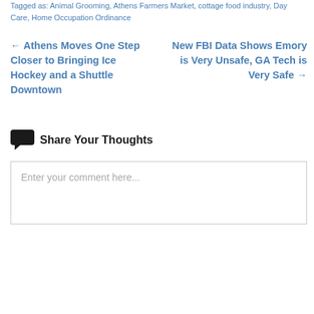Tagged as: Animal Grooming, Athens Farmers Market, cottage food industry, Day Care, Home Occupation Ordinance
← Athens Moves One Step Closer to Bringing Ice Hockey and a Shuttle Downtown
New FBI Data Shows Emory is Very Unsafe, GA Tech is Very Safe →
Share Your Thoughts
Enter your comment here...